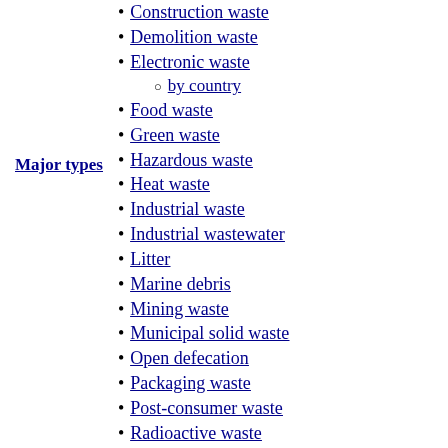Major types
Construction waste
Demolition waste
Electronic waste
by country
Food waste
Green waste
Hazardous waste
Heat waste
Industrial waste
Industrial wastewater
Litter
Marine debris
Mining waste
Municipal solid waste
Open defecation
Packaging waste
Post-consumer waste
Radioactive waste
Scrap metal
Sewage
Sharps waste
Surface runoff
Toxic waste
Anaerobic digestion
Balefill